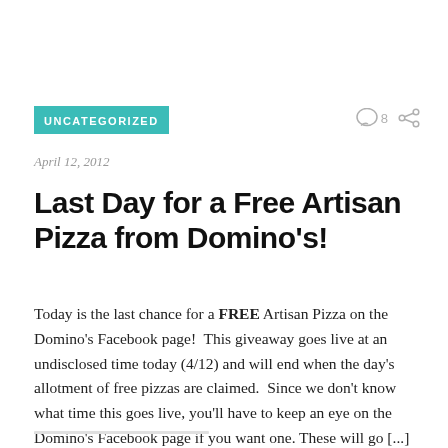UNCATEGORIZED
April 12, 2012
Last Day for a Free Artisan Pizza from Domino's!
Today is the last chance for a FREE Artisan Pizza on the Domino's Facebook page!  This giveaway goes live at an undisclosed time today (4/12) and will end when the day's allotment of free pizzas are claimed.  Since we don't know what time this goes live, you'll have to keep an eye on the Domino's Facebook page if you want one. These will go [...]